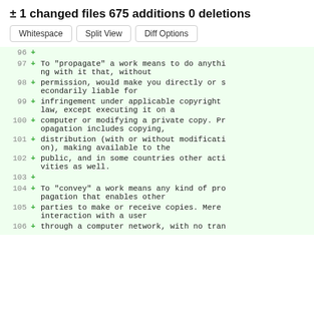± 1 changed files 675 additions 0 deletions
Whitespace  Split View  Diff Options
96 +
97 + To "propagate" a work means to do anything with it that, without
98 + permission, would make you directly or secondarily liable for
99 + infringement under applicable copyright law, except executing it on a
100 + computer or modifying a private copy. Propagation includes copying,
101 + distribution (with or without modification), making available to the
102 + public, and in some countries other activities as well.
103 +
104 + To "convey" a work means any kind of propagation that enables other
105 + parties to make or receive copies. Mere interaction with a user
106 + through a computer network, with no tran